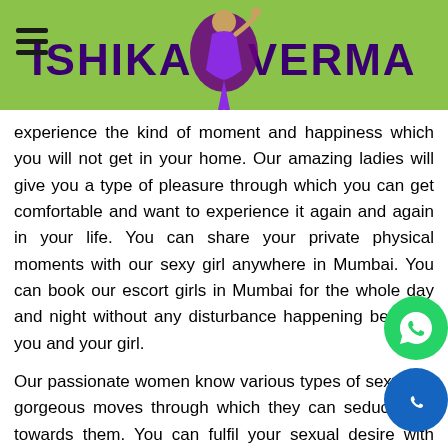ISHIKA VERMA
experience the kind of moment and happiness which you will not get in your home. Our amazing ladies will give you a type of pleasure through which you can get comfortable and want to experience it again and again in your life. You can share your private physical moments with our sexy girl anywhere in Mumbai. You can book our escort girls in Mumbai for the whole day and night without any disturbance happening between you and your girl.
Our passionate women know various types of sexy and gorgeous moves through which they can seduce you towards them. You can fulfil your sexual desire with Mumbai call girls service. If you are feeling that sexual preferences need to be fulfilled in your life too, then you should contact or visit Mumbai escorts. You can become naughty with our